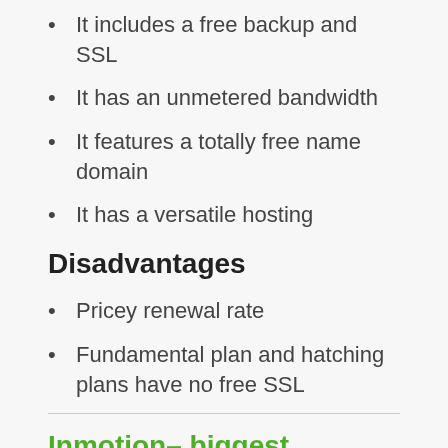It includes a free backup and SSL
It has an unmetered bandwidth
It features a totally free name domain
It has a versatile hosting
Disadvantages
Pricey renewal rate
Fundamental plan and hatching plans have no free SSL
Inmotion– biggest independent hosting companies